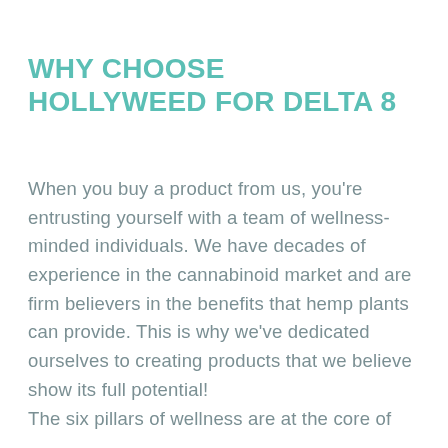WHY CHOOSE HOLLYWEED FOR DELTA 8
When you buy a product from us, you're entrusting yourself with a team of wellness-minded individuals. We have decades of experience in the cannabinoid market and are firm believers in the benefits that hemp plants can provide. This is why we've dedicated ourselves to creating products that we believe show its full potential!
The six pillars of wellness are at the core of